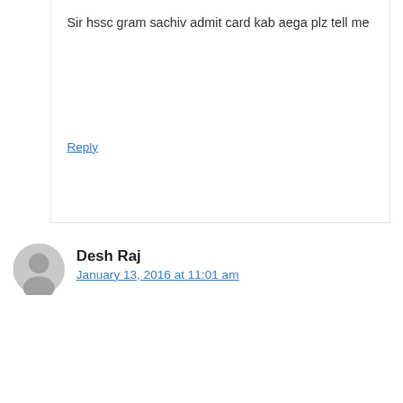Sir hssc gram sachiv admit card kab aega plz tell me
Reply
Desh Raj
January 13, 2016 at 11:01 am
what is the date of canal patwari exam . what the preocess of admit card
Reply